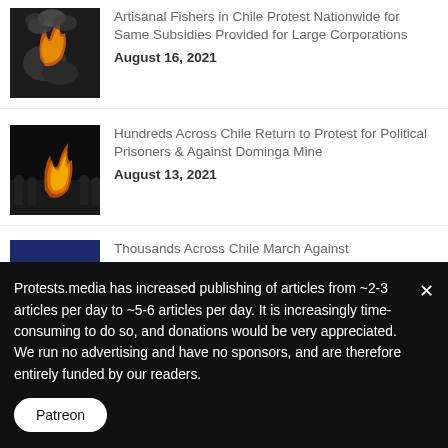Artisanal Fishers in Chile Protest Nationwide for Same Subsidies Provided for Large Corporations
August 16, 2021
Hundreds Across Chile Return to Protest for Political Prisoners & Against Dominga Mine
August 13, 2021
Thousands Across Chile March Against Environmentally Damaging Dominga Mine
August 11, 2021
Protests.media has increased publishing of articles from ~2-3 articles per day to ~5-6 articles per day. It is increasingly time-consuming to do so, and donations would be very appreciated. We run no advertising and have no sponsors, and are therefore entirely funded by our readers.
Patreon